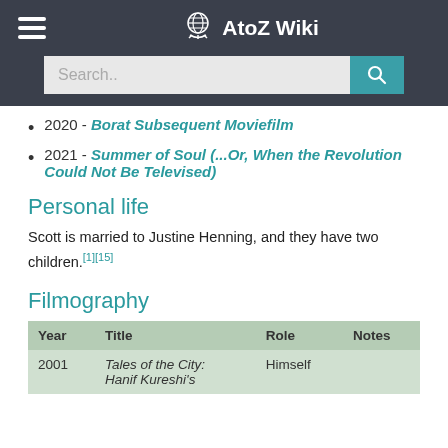AtoZ Wiki
2020 - Borat Subsequent Moviefilm
2021 - Summer of Soul (...Or, When the Revolution Could Not Be Televised)
Personal life
Scott is married to Justine Henning, and they have two children.[1][15]
Filmography
| Year | Title | Role | Notes |
| --- | --- | --- | --- |
| 2001 | Tales of the City: Hanif Kureshi's | Himself |  |